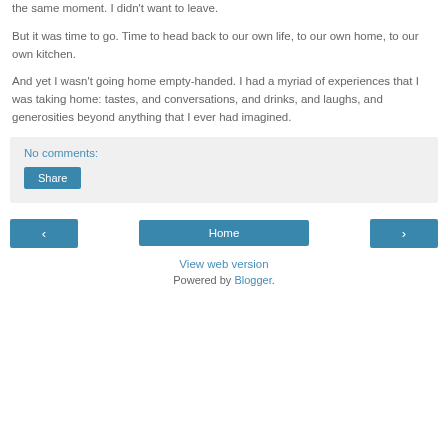the same moment.  I didn't want to leave.
But it was time to go.  Time to head back to our own life, to our own home, to our own kitchen.
And yet I wasn't going home empty-handed.  I had a myriad of experiences that I was taking home: tastes, and conversations, and drinks, and laughs, and generosities beyond anything that I ever had imagined.
No comments:
Share
Home
View web version
Powered by Blogger.